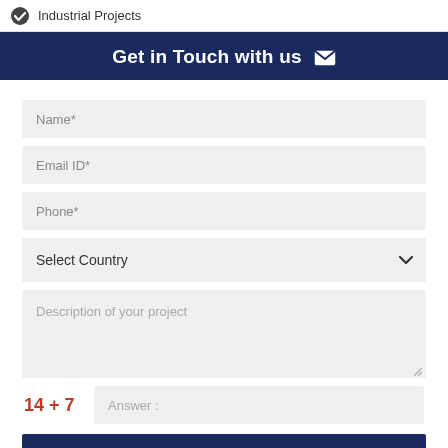Industrial Projects
Get in Touch with us
Name*
Email ID*
Phone*
Select Country
Description of your project
Answer :
SUBMIT